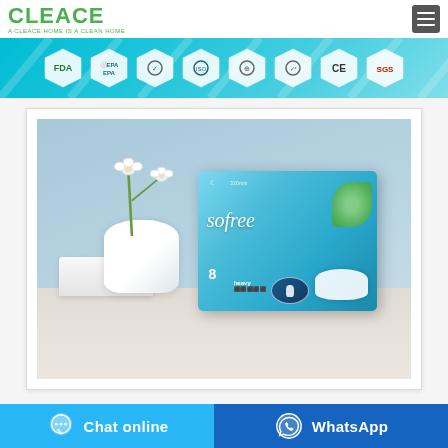[Figure (logo): CLEACE brand logo in green with tagline 'A CLEACE HOME IS A CLEAN HOME']
[Figure (infographic): Teal banner with certification badges: FDA, EPA, and other regulatory/quality certifications including CE and SGS]
[Figure (photo): Product photo of 'sofree' branded sanitary pad package (8 pcs, heavy), blue box, displayed on a white surface with white flower vase in background]
Chat online
WhatsApp